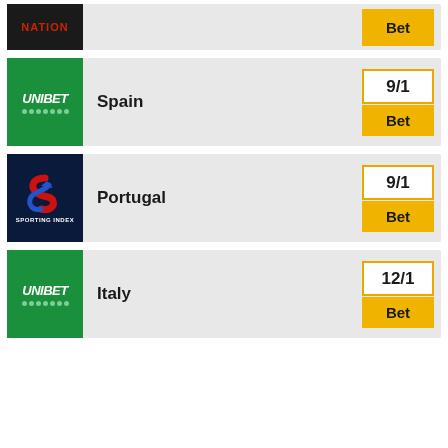[Figure (other): Betting odds row (partial, clipped at top): Nation logo with black background, Bet button in gold]
[Figure (other): Betting odds row: Unibet logo (green), Spain, odds 9/1, Bet button]
[Figure (other): Betting odds row: Sporting Index logo (dark blue), Portugal, odds 9/1, Bet button]
[Figure (other): Betting odds row: Unibet logo (green), Italy, odds 12/1, Bet button]